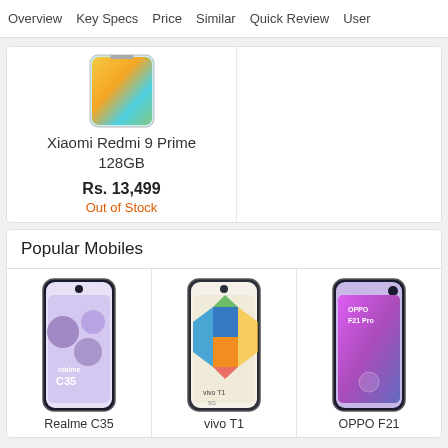Overview  Key Specs  Price  Similar  Quick Review  User
[Figure (photo): Xiaomi Redmi 9 Prime 128GB smartphone product image - gradient teal/gold/blue back]
Xiaomi Redmi 9 Prime 128GB
Rs. 13,499
Out of Stock
86  VFM Score
Popular Mobiles
[Figure (photo): Realme C35 smartphone product image]
Realme C35
[Figure (photo): vivo T1 smartphone product image]
vivo T1
[Figure (photo): OPPO F21 smartphone product image]
OPPO F21